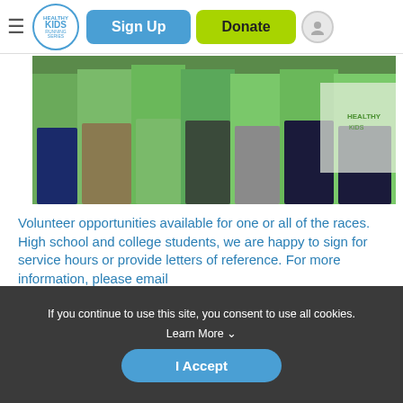[Figure (screenshot): Navigation bar with hamburger menu, Healthy Kids Running Series logo, Sign Up button (blue), Donate button (green), and profile icon]
[Figure (photo): Group of people wearing bright green t-shirts, cropped at waist level, standing together outdoors at a running event]
Volunteer opportunities available for one or all of the races. High school and college students, we are happy to sign for service hours or provide letters of reference. For more information, please email northreadingma@healthykidsrs.org or click HERE.
If you continue to use this site, you consent to use all cookies. Learn More ˅
I Accept